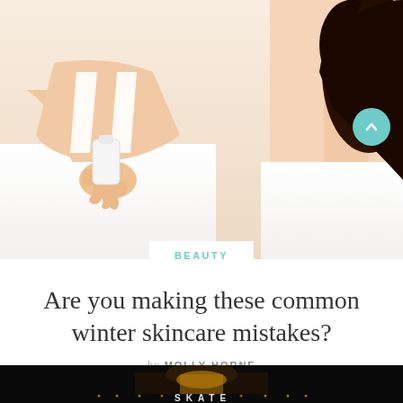[Figure (photo): Two women in white tops, one holding a white bottle/container, beauty/skincare context, light background]
BEAUTY
Are you making these common winter skincare mistakes?
by MOLLY HORNE
[Figure (photo): Night scene with illuminated building and text reading SKATE, dark background]